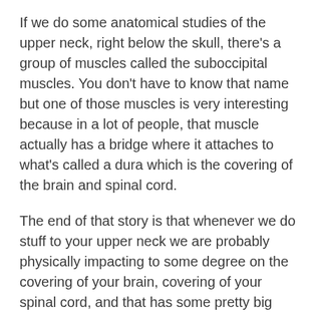If we do some anatomical studies of the upper neck, right below the skull, there's a group of muscles called the suboccipital muscles. You don't have to know that name but one of those muscles is very interesting because in a lot of people, that muscle actually has a bridge where it attaches to what's called a dura which is the covering of the brain and spinal cord.
The end of that story is that whenever we do stuff to your upper neck we are probably physically impacting to some degree on the covering of your brain, covering of your spinal cord, and that has some pretty big ramifications. Here's how this whole thing is going to work, we're going to actually test your hamstring flexibility and then we're going to do a little bit of work in your upper neck utilizing our